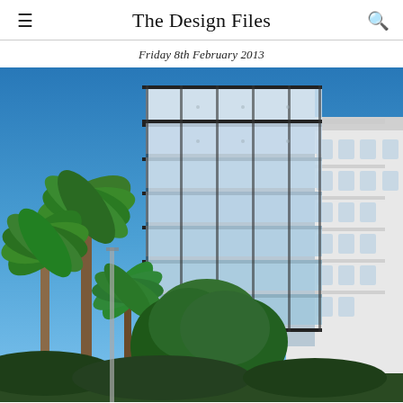The Design Files
Friday 8th February 2013
[Figure (photo): Exterior photograph of a modern multi-storey glass and steel apartment building with horizontal cantilevered balconies, flanked by palm trees and green trees on the left, a white art deco building on the right, against a clear blue sky. Location appears to be Sydney, Australia.]